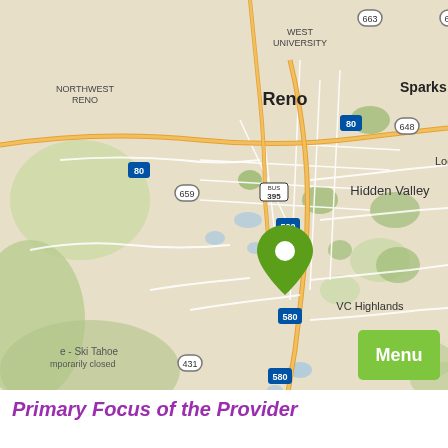[Figure (map): Street map of Reno, Nevada area showing surrounding neighborhoods including West University, Northwest Reno, Sparks, Hidden Valley, VC Highlands, and nearby highway routes (I-80, 580, 395, 663, 659, 648, 431, 341). A green location pin marker is placed near the center-south of Reno along highway 580. The map shows roads, green vegetation areas, and highway shields.]
Primary Focus of the Provider